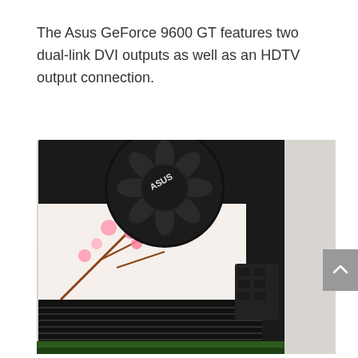The Asus GeForce 9600 GT features two dual-link DVI outputs as well as an HDTV output connection.
[Figure (photo): Close-up photo of an Asus GeForce 9600 GT graphics card showing the ASUS-branded fan with cherry blossom design on the shroud, black heatsink fins, a 6-pin power connector, and the green PCB visible at the bottom edge.]